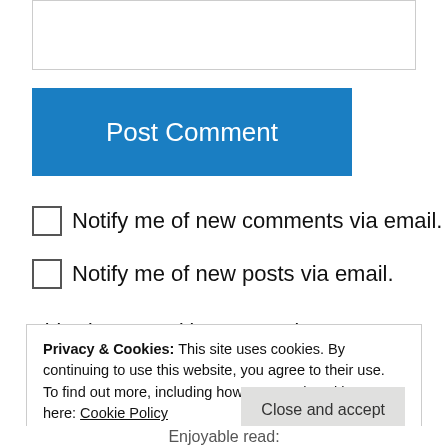[Figure (screenshot): Empty text input box (comment form field)]
Post Comment
Notify me of new comments via email.
Notify me of new posts via email.
This site uses Akismet to reduce spam. Learn how your comment data is processed.
Privacy & Cookies: This site uses cookies. By continuing to use this website, you agree to their use.
To find out more, including how to control cookies, see here: Cookie Policy
Close and accept
Enjoyable read: